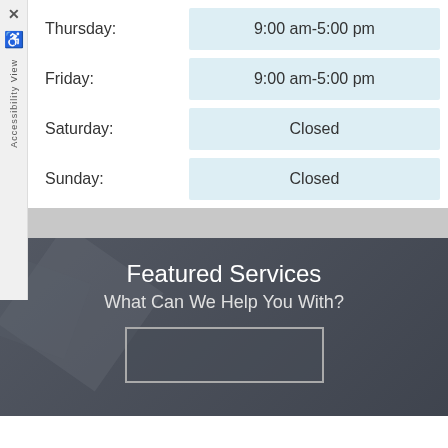| Day | Hours |
| --- | --- |
| Thursday: | 9:00 am-5:00 pm |
| Friday: | 9:00 am-5:00 pm |
| Saturday: | Closed |
| Sunday: | Closed |
Featured Services
What Can We Help You With?